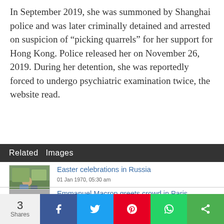In September 2019, she was summoned by Shanghai police and was later criminally detained and arrested on suspicion of "picking quarrels" for her support for Hong Kong. Police released her on November 26, 2019. During her detention, she was reportedly forced to undergo psychiatric examination twice, the website read.
Related   Images
[Figure (photo): Thumbnail photo for Easter celebrations in Russia article]
Easter celebrations in Russia
01 Jan 1970, 05:30 am
[Figure (photo): Thumbnail photo for Emmanuel Macron greets crowd in Paris article]
Emmanuel Macron greets crowd in Paris
01 Jan 1970, 05:30 am
3 Shares